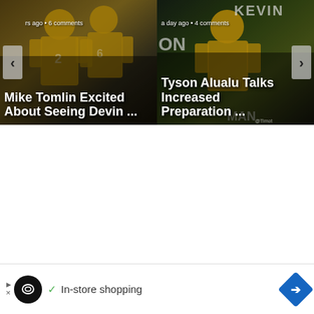[Figure (screenshot): Left carousel card showing football players in yellow/gold jerseys with nav arrow left button, timestamp 'rs ago • 6 comments', title 'Mike Tomlin Excited About Seeing Devin ...']
[Figure (screenshot): Right carousel card showing football player in yellow jersey with nav arrow right button, timestamp 'a day ago • 4 comments', title 'Tyson Alualu Talks Increased Preparation ...', KEVIN text visible top right]
[Figure (screenshot): Advertisement banner at bottom with Loops logo circle, checkmark, 'In-store shopping' text, and blue diamond navigation icon]